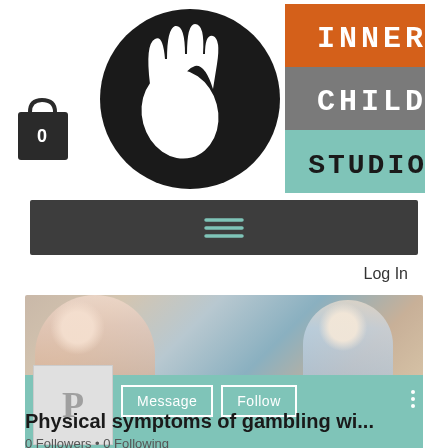[Figure (logo): Inner Child Studio logo: black circle with white hand silhouettes (adult and child), next to three horizontal colored rectangles (orange, gray, teal) with text INNER, CHILD, STUDIO in monospace font]
[Figure (illustration): Shopping bag icon with number 0 inside, dark colored]
[Figure (screenshot): Dark gray navigation bar with hamburger menu icon (three horizontal teal lines)]
Log In
[Figure (photo): Photo of an adult and young child doing an activity together (crafts), shown as a banner/cover image]
[Figure (screenshot): Profile section with a light gray square placeholder avatar showing letter P, and two buttons: Message and Follow, plus a vertical three-dot menu icon, on a teal background]
Physical symptoms of gambling wi...
0 Followers • 0 Following